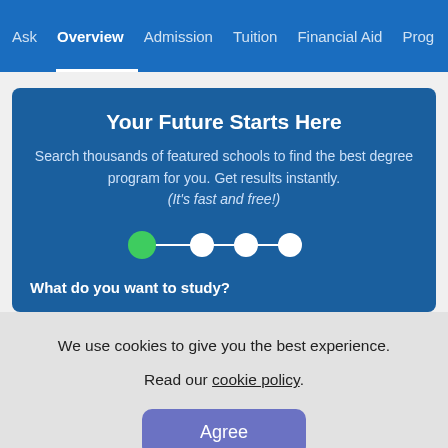Ask  Overview  Admission  Tuition  Financial Aid  Prog
Your Future Starts Here
Search thousands of featured schools to find the best degree program for you. Get results instantly. (It's fast and free!)
[Figure (infographic): Step progress indicator with 4 dots connected by lines. First dot is green (active), remaining three are white (inactive).]
What do you want to study?
We use cookies to give you the best experience.
Read our cookie policy.
Agree